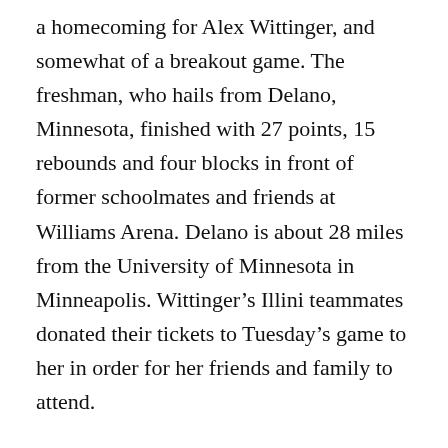a homecoming for Alex Wittinger, and somewhat of a breakout game. The freshman, who hails from Delano, Minnesota, finished with 27 points, 15 rebounds and four blocks in front of former schoolmates and friends at Williams Arena. Delano is about 28 miles from the University of Minnesota in Minneapolis. Wittinger's Illini teammates donated their tickets to Tuesday's game to her in order for her friends and family to attend.
Wittinger said she felt more energized than nervous to play in front of familiar faces. “I was really pumped,” Wittinger said. “I knew a lot of people were coming from school, from old